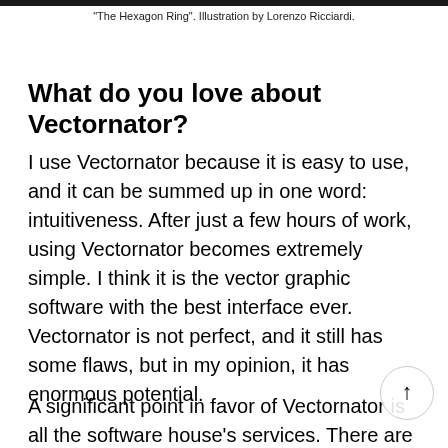"The Hexagon Ring". Illustration by Lorenzo Ricciardi.
What do you love about Vectornator?
I use Vectornator because it is easy to use, and it can be summed up in one word: intuitiveness. After just a few hours of work, using Vectornator becomes extremely simple. I think it is the vector graphic software with the best interface ever. Vectornator is not perfect, and it still has some flaws, but in my opinion, it has enormous potential.
A significant point in favor of Vectornator is all the software house's services. There are many tutorials and tricks...